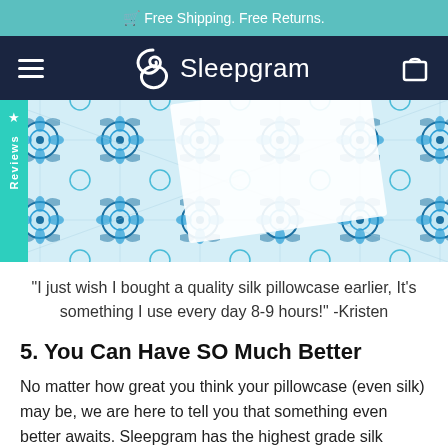🏷 Free Shipping. Free Returns.
[Figure (screenshot): Sleepgram website navigation bar with hamburger menu on left, Sleepgram logo in center (white S icon and Sleepgram text), and cart icon on right, on dark navy background]
[Figure (photo): Blue and teal decorative tile pattern with floral/mandala motifs, with a white envelope/paper partially overlapping, and a green Reviews tab on the left side]
"I just wish I bought a quality silk pillowcase earlier, It's something I use every day 8-9 hours!" -Kristen
5. You Can Have SO Much Better
No matter how great you think your pillowcase (even silk) may be, we are here to tell you that something even better awaits. Sleepgram has the highest grade silk money can buy under $500 and it's just 1/10th the price. If you don't believe it, why not try Silk by Sleepgram for